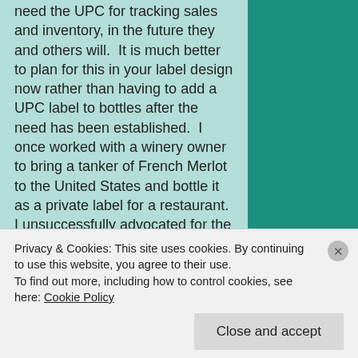need the UPC for tracking sales and inventory, in the future they and others will.  It is much better to plan for this in your label design now rather than having to add a UPC label to bottles after the need has been established.  I once worked with a winery owner to bring a tanker of French Merlot to the United States and bottle it as a private label for a restaurant.  I unsuccessfully advocated for the UPC on the bottle, he had to hand label over 200 cases after the restaurant failed to make sales objectives.
2. Web address – This seems to be commonplace but even 15 years after
Privacy & Cookies: This site uses cookies. By continuing to use this website, you agree to their use. To find out more, including how to control cookies, see here: Cookie Policy